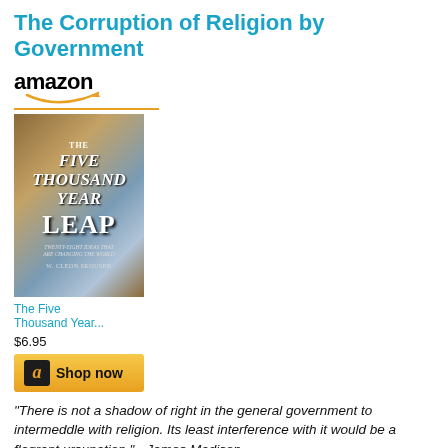The Corruption of Religion by Government
[Figure (other): Amazon widget showing book 'The Five Thousand Year Leap' by W. Cleon Skousen with price $6.95 and Shop now button]
"There is not a shadow of right in the general government to intermeddle with religion. Its least interference with it would be a flagrant ursupation." - James Madison
Has not everyone heard of the phrase about the phrase about the separation of government and religion? It's actually